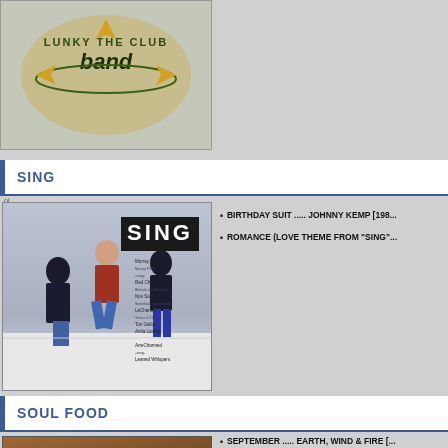[Figure (photo): Album cover at top showing a band logo with text and decorative design on grey/green background]
SING
[Figure (photo): SING movie soundtrack album cover showing people/dancers with SING logo text box]
BIRTHDAY SUIT ..... JOHNNY KEMP [198...
ROMANCE (LOVE THEME FROM "SING"...
SOUL FOOD
[Figure (photo): Soul Food soundtrack album cover with orange/brown tones and SOUL FOOD text]
SEPTEMBER ..... EARTH, WIND & FIRE [...
I CARE 'BOUT YOU ..... MILESTONE [19...
WHAT ABOUT US ..... TOTAL [1997, #16]
WERE NOT MAKIN LOVE NO MORE...